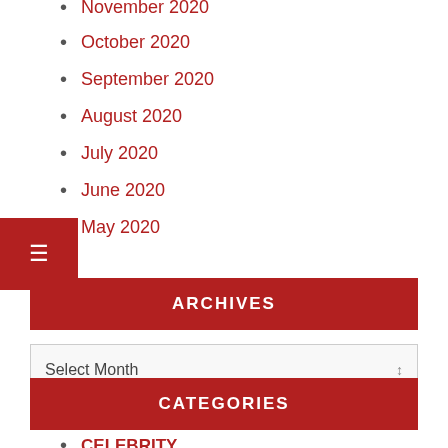November 2020
October 2020
September 2020
August 2020
July 2020
June 2020
May 2020
ARCHIVES
Select Month
CATEGORIES
CELEBRITY
FEATURED